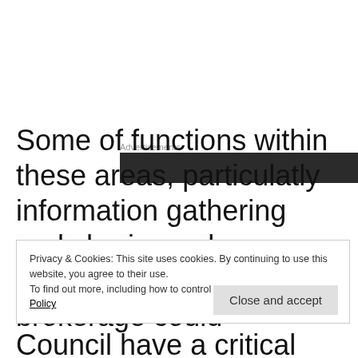[Figure (other): Advertisements banner area with dark background rectangle]
Some of functions within these areas, particulatly information gathering and sharing, advocacy and relationship brokerage could
Privacy & Cookies: This site uses cookies. By continuing to use this website, you agree to their use.
To find out more, including how to control cookies, see here: Cookie Policy
Council have a critical leadership